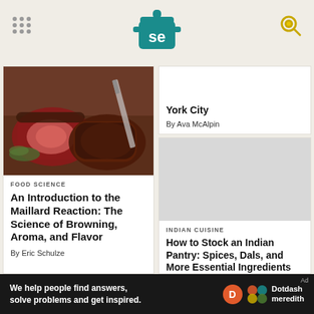Serious Eats
York City
By Ava McAlpin
[Figure (photo): Seared steak pieces on a wooden cutting board with herbs]
FOOD SCIENCE
An Introduction to the Maillard Reaction: The Science of Browning, Aroma, and Flavor
By Eric Schulze
INDIAN CUISINE
How to Stock an Indian Pantry: Spices, Dals, and More Essential Ingredients
By Mari Uyehara
We help people find answers, solve problems and get inspired. Dotdash meredith